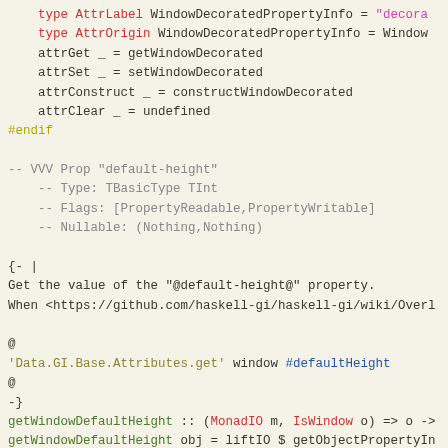[Figure (screenshot): Source code screenshot showing Haskell code with syntax highlighting on a cream/beige background. Code includes type definitions, attribute bindings, comments about a 'default-height' property, and function definitions for getWindowDefaultHeight.]